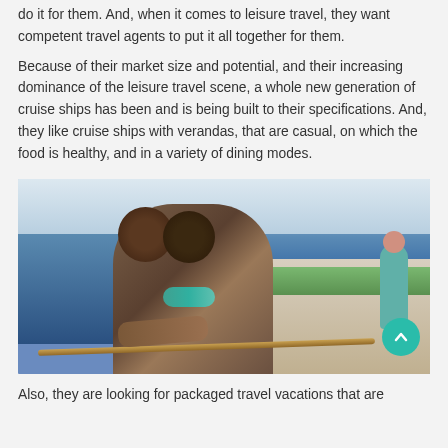do it for them. And, when it comes to leisure travel, they want competent travel agents to put it all together for them.
Because of their market size and potential, and their increasing dominance of the leisure travel scene, a whole new generation of cruise ships has been and is being built to their specifications. And, they like cruise ships with verandas, that are casual, on which the food is healthy, and in a variety of dining modes.
[Figure (photo): A couple on a cruise ship deck. A man is kissing a smiling woman on the cheek while they lean on the ship's railing with the ocean in the background. Another person is visible on a green lawn area of the deck in the background.]
Also, they are looking for packaged travel vacations that are